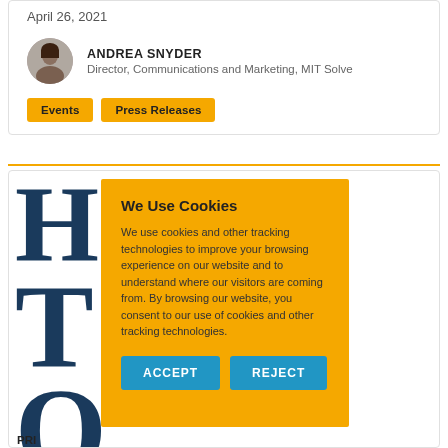April 26, 2021
ANDREA SNYDER
Director, Communications and Marketing, MIT Solve
Events
Press Releases
[Figure (screenshot): Cookie consent overlay on a webpage with yellow background. Title: We Use Cookies. Body text about cookies and tracking technologies. Two blue buttons: ACCEPT and REJECT.]
PRE... Announces Judges for Multi-million Prize